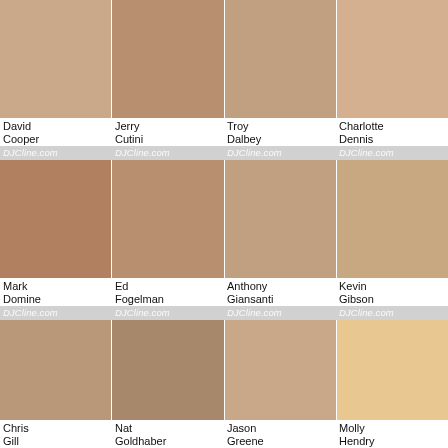[Figure (photo): Headshot photo grid of professionals. Row 1: David Cooper, Jerry Cutini, Troy Dalbey, Charlotte Dennis. Row 2: Mark Domine, Ed Fogelman, Anthony Giansanti, Kevin Gibson. Row 3: Chris Gill, Nat Goldhaber, Jason Greene, Molly Hendry. Row 4 (partial): five more partially visible headshots. All photos watermarked with DJCline.com.]
David Cooper
Jerry Cutini
Troy Dalbey
Charlotte Dennis
Mark Domine
Ed Fogelman
Anthony Giansanti
Kevin Gibson
Chris Gill
Nat Goldhaber
Jason Greene
Molly Hendry